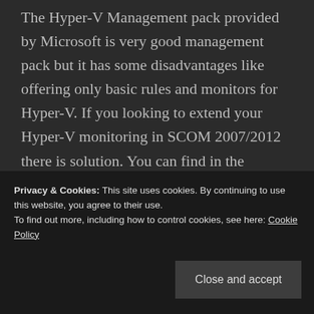The Hyper-V Management pack provided by Microsoft is very good management pack but it has some disadvantages like offering only basic rules and monitors for Hyper-V. If you looking to extend your Hyper-V monitoring in SCOM 2007/2012 there is solution. You can find in the CodePlex community website. Click on the link and download.
http://hypervmpe.codeplex.com/
Spread the word:
Privacy & Cookies: This site uses cookies. By continuing to use this website, you agree to their use.
To find out more, including how to control cookies, see here: Cookie Policy